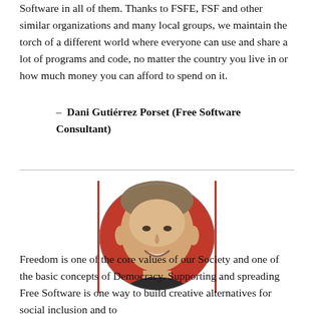Software in all of them. Thanks to FSFE, FSF and other similar organizations and many local groups, we maintain the torch of a different world where everyone can use and share a lot of programs and code, no matter the country you live in or how much money you can afford to spend on it.
— Dani Gutiérrez Porset (Free Software Consultant)
[Figure (photo): Oval portrait photo of a man smiling, with a red background]
Freedom is one of the core values of our Society and one of the basic concepts of Democracy. Supporting and spreading Free Software is one way to build creative alternatives for social inclusion and to